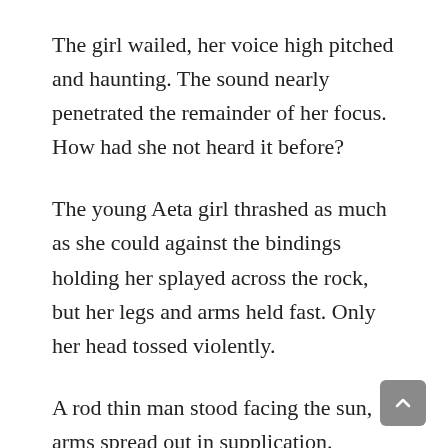The girl wailed, her voice high pitched and haunting. The sound nearly penetrated the remainder of her focus. How had she not heard it before?
The young Aeta girl thrashed as much as she could against the bindings holding her splayed across the rock, but her legs and arms held fast. Only her head tossed violently.
A rod thin man stood facing the sun, arms spread out in supplication. Nothing covered the browned and leathery skin of his torso. Dark pants, a